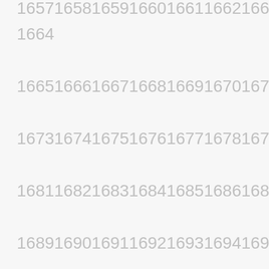1657165816591660166116621663166416651666166716681669167016711672167316741675167616771678167916801681168216831684168516861687168816891690169116921693169416951696169716981699170017011702170317041705170617071708170917101711171217131714171517161717171817191720172117221723172417251726172717281729173017311732173317341735173617371738173917401741174217431744174517461747174817491750175117521753175417551756175717581759176 0